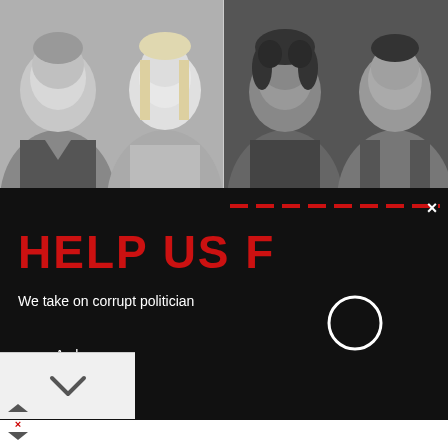[Figure (photo): Four headshot photos in black and white: two people on the left (a man and a woman with blonde hair), two people on the right (a woman with dark curly hair and an Asian man in a suit), arranged side by side in a horizontal strip]
[Figure (screenshot): Dark modal popup overlay with red bold text 'HELP US F[UND]' at top, a red dashed line, body text 'We take on corrupt politician[s]', a loading spinner circle, and text 'As long as [you support us] / we will k[eep going]' with 'we will k' in red]
[Figure (infographic): Advertisement banner: black circular icon with white infinity-like arrow symbol, text 'Save Up to 65%' in bold dark, 'Leesburg Premium Outlets' in blue, and a blue diamond-shaped turn arrow icon on the right]